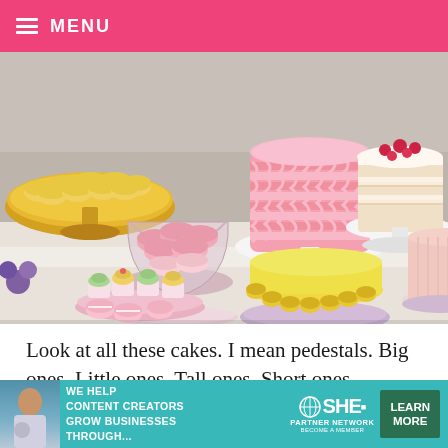≡ MENU
[Figure (photo): Overhead/side view of a dessert table with multiple cakes on pedestals — including a pink ruffled layered cake, a yellow macaron-bordered cake, a naked fruit cake, and a pink frosted cake — along with macarons in a glass bowl, mini cupcakes, and other pastries displayed on various white and pink pedestal stands.]
Look at all these cakes. I mean pedestals. Big ones. Little ones. Tall ones. Short ones.
Melody also has an online store where you can fin
[Figure (infographic): Advertisement banner: 'WE HELP CONTENT CREATORS GROW BUSINESSES THROUGH...' with SHE PARTNER NETWORK logo and LEARN MORE button]